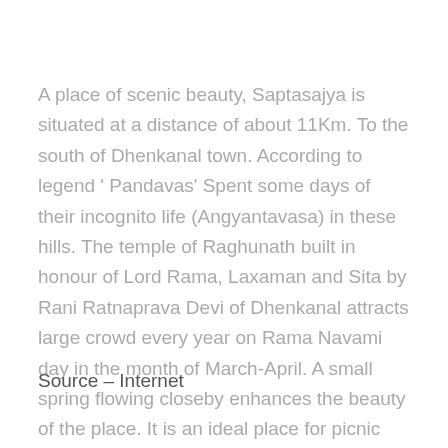A place of scenic beauty, Saptasajya is situated at a distance of about 11Km. To the south of Dhenkanal town. According to legend ' Pandavas' Spent some days of their incognito life (Angyantavasa) in these hills. The temple of Raghunath built in honour of Lord Rama, Laxaman and Sita by Rani Ratnaprava Devi of Dhenkanal attracts large crowd every year on Rama Navami day in the month of March-April. A small spring flowing closeby enhances the beauty of the place. It is an ideal place for picnic and recreation.
Source – Internet